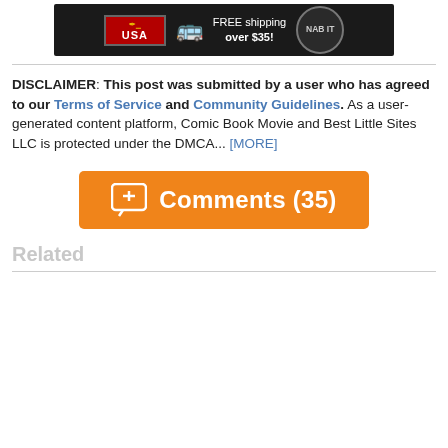[Figure (screenshot): Banner advertisement showing USA free shipping over $35 and NAB IT badge on dark background]
DISCLAIMER: This post was submitted by a user who has agreed to our Terms of Service and Community Guidelines. As a user-generated content platform, Comic Book Movie and Best Little Sites LLC is protected under the DMCA... [MORE]
Comments (35)
Related